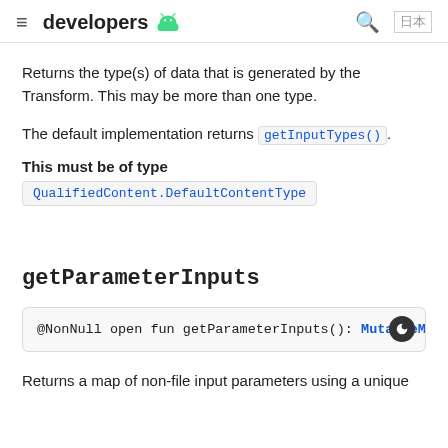developers
Returns the type(s) of data that is generated by the Transform. This may be more than one type.
The default implementation returns getInputTypes().
This must be of type
QualifiedContent.DefaultContentType
getParameterInputs
@NonNull open fun getParameterInputs(): MutableMap<S
Returns a map of non-file input parameters using a unique